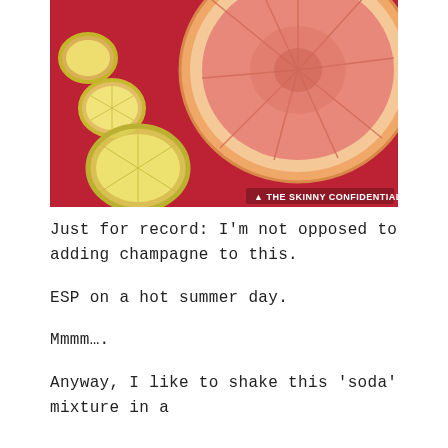[Figure (photo): Close-up photo of a halved pink grapefruit and lemon slices on a red cutting board. Watermark in bottom right corner reads: ▲ THE SKINNY CONFIDENTIAL]
Just for record: I'm not opposed to adding champagne to this.
ESP on a hot summer day.
Mmmm….
Anyway, I like to shake this 'soda' mixture in a